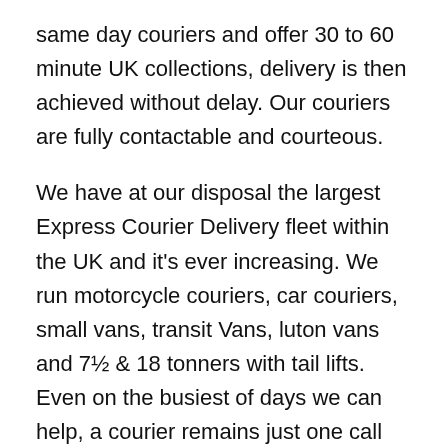same day couriers and offer 30 to 60 minute UK collections, delivery is then achieved without delay. Our couriers are fully contactable and courteous.
We have at our disposal the largest Express Courier Delivery fleet within the UK and it's ever increasing. We run motorcycle couriers, car couriers, small vans, transit Vans, luton vans and 7½ & 18 tonners with tail lifts. Even on the busiest of days we can help, a courier remains just one call away.